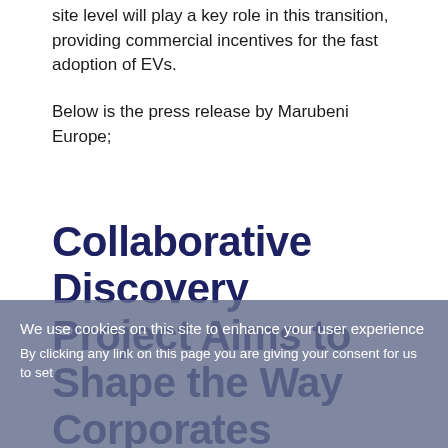site level will play a key role in this transition, providing commercial incentives for the fast adoption of EVs.
Below is the press release by Marubeni Europe;
Collaborative Discovery Project Aims to Shape the Way Corporates Leverage Advanced Electric Vehicle Charging Capabilities
We use cookies on this site to enhance your user experience
By clicking any link on this page you are giving your consent for us to set